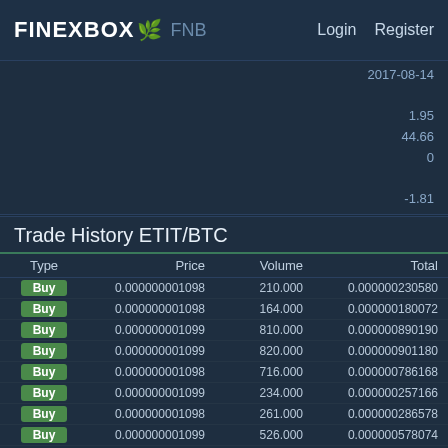FINEXBOX FNB  Login  Register
2017-08-14
1.95
44.66
0
-1.81
Trade History ETIT/BTC
| Type | Price | Volume | Total |
| --- | --- | --- | --- |
| Buy | 0.000000001098 | 210.000 | 0.000000230580 |
| Buy | 0.000000001098 | 164.000 | 0.000000180072 |
| Buy | 0.000000001099 | 810.000 | 0.000000890190 |
| Buy | 0.000000001099 | 820.000 | 0.000000901180 |
| Buy | 0.000000001098 | 716.000 | 0.000000786168 |
| Buy | 0.000000001099 | 234.000 | 0.000000257166 |
| Buy | 0.000000001098 | 261.000 | 0.000000286578 |
| Buy | 0.000000001099 | 526.000 | 0.000000578074 |
| Sell | 0.000000001099 | 891.000 | 0.000000979209 |
| Sell | 0.000000001098 | 511.000 | 0.000000561078 |
| Buy | 0.000000001098 | 297.000 | 0.000000??? |